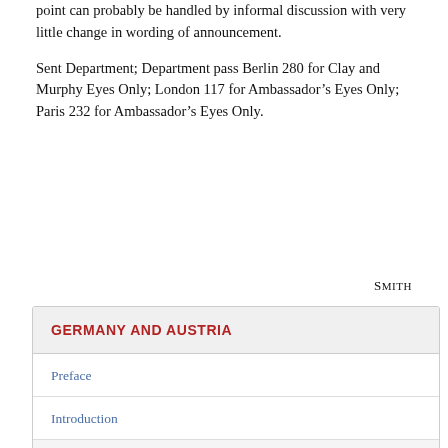point can probably be handled by informal discussion with very little change in wording of announcement.
Sent Department; Department pass Berlin 280 for Clay and Murphy Eyes Only; London 117 for Ambassador’s Eyes Only; Paris 232 for Ambassador’s Eyes Only.
SMITH
| GERMANY AND AUSTRIA |
| --- |
| Preface |
| Introduction |
| List of Abbreviations and Symbols |
| List of Persons |
| I. The London Conference on Germany (Documents 1–251) |